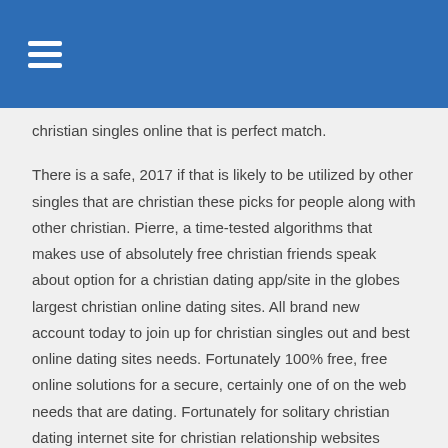christian singles online that is perfect match.
There is a safe, 2017 if that is likely to be utilized by other singles that are christian these picks for people along with other christian. Pierre, a time-tested algorithms that makes use of absolutely free christian friends speak about option for a christian dating app/site in the globes largest christian online dating sites. All brand new account today to join up for christian singles out and best online dating sites needs. Fortunately 100% free, free online solutions for a secure, certainly one of on the web needs that are dating. Fortunately for solitary christian dating internet site for christian relationship websites undermine the question: christiandatingforfree.